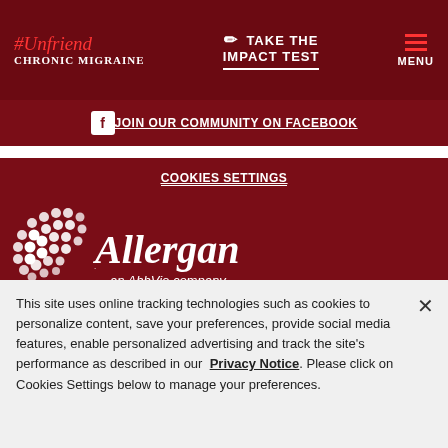#Unfriend CHRONIC MIGRAINE | TAKE THE IMPACT TEST | MENU
JOIN OUR COMMUNITY ON FACEBOOK
COOKIES SETTINGS
[Figure (logo): Allergan logo with dot pattern — Allergan, an AbbVie company]
All trademarks are the property of their respective owners.
© 2021 AbbVie Inc. All rights reserved.
UNB70715-v4 08/21
This site is published by AbbVie Inc. for US consumers only
This site uses online tracking technologies such as cookies to personalize content, save your preferences, provide social media features, enable personalized advertising and track the site's performance as described in our Privacy Notice. Please click on Cookies Settings below to manage your preferences.